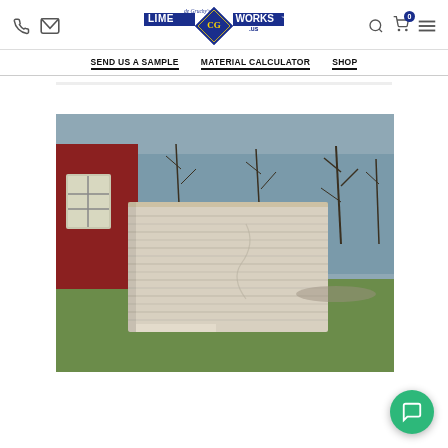de Gruchy's LimeWorks.us — Phone, Mail, Search, Cart, Menu icons
SEND US A SAMPLE | MATERIAL CALCULATOR | SHOP
[Figure (photo): A large rectangular lime plaster or stucco sample board with horizontal grooved texturing sitting on a wooden easel/sawhorse stand outdoors. A red building with white-trimmed windows is visible on the left, and bare trees and green lawn are in the background. The sample board is light beige/off-white in color.]